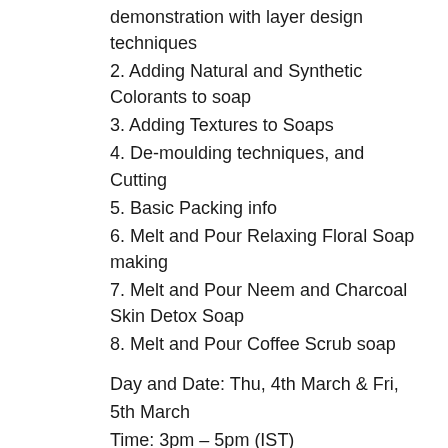demonstration with layer design techniques
2. Adding Natural and Synthetic Colorants to soap
3. Adding Textures to Soaps
4. De-moulding techniques, and Cutting
5. Basic Packing info
6. Melt and Pour Relaxing Floral Soap making
7. Melt and Pour Neem and Charcoal Skin Detox Soap
8. Melt and Pour Coffee Scrub soap
Day and Date: Thu, 4th March & Fri, 5th March
Time: 3pm – 5pm (IST)
Cost: Rs 3000 per person
Venue: Online Session on Zoom
This is a demonstration-based workshop. All details and links on where to purchase materials